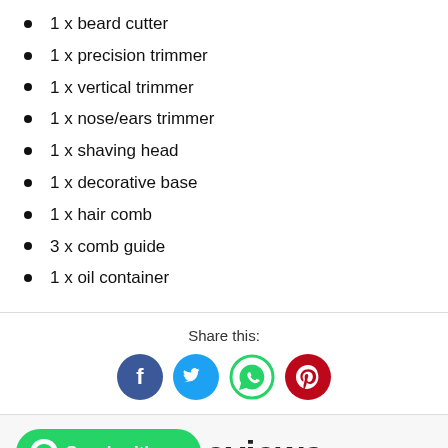1 x beard cutter
1 x precision trimmer
1 x vertical trimmer
1 x nose/ears trimmer
1 x shaving head
1 x decorative base
1 x hair comb
3 x comb guide
1 x oil container
Share this:
[Figure (infographic): Social media share icons: Facebook (blue), Twitter (light blue), WhatsApp (green), Pinterest (red)]
Speak with us
eviews
star rating (partially visible)